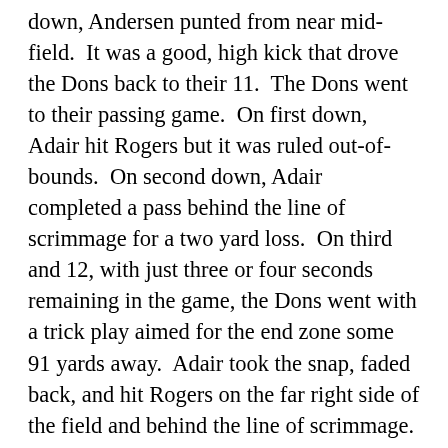down, Andersen punted from near mid-field.  It was a good, high kick that drove the Dons back to their 11.  The Dons went to their passing game.  On first down, Adair hit Rogers but it was ruled out-of-bounds.  On second down, Adair completed a pass behind the line of scrimmage for a two yard loss.  On third and 12, with just three or four seconds remaining in the game, the Dons went with a trick play aimed for the end zone some 91 yards away.  Adair took the snap, faded back, and hit Rogers on the far right side of the field and behind the line of scrimmage.  The seconds ticked off.  The game would end with this final play.  As a Cougar defender rushed Rogers, he uncorked a pass to the wide-open Wixted.  But the ball was poorly thrown.  It was wobbly and hung in the air too long.  Wixted had to come back for it.  He caught it for a 42 yard gain, but the wait had been costly as he was pummeled by a horde of Cougar defenders as the gun sounded.